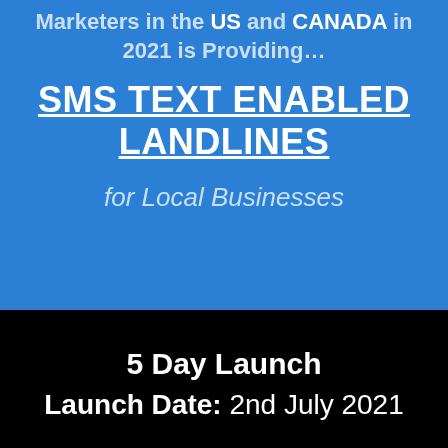Marketers in the US and CANADA in 2021 is Providing…
SMS TEXT ENABLED LANDLINES
for Local Businesses
5 Day Launch
Launch Date: 2nd July 2021